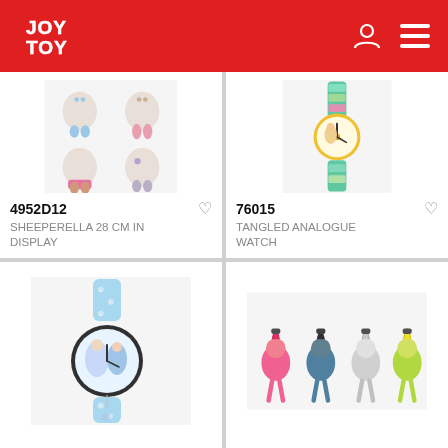JOY TOY
[Figure (photo): Four Sheeperella 28cm plush toy figures in different colors displayed in a 2x2 grid]
4952D12
SHEEPERELLA 28 CM IN DISPLAY
[Figure (photo): Tangled analogue watch with colorful character strap and yellow round face]
76015
TANGLED ANALOGUE WATCH
[Figure (photo): Frozen analogue watch with light blue snowflake strap and snowflake charm pendant]
[Figure (photo): Four Trolls character clip-on figures in pink, black/grey, grey, and green/yellow colors]